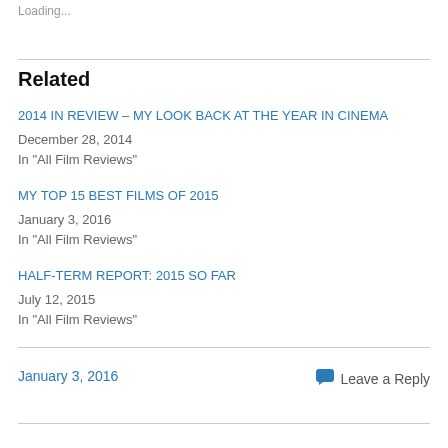Loading...
Related
2014 IN REVIEW – MY LOOK BACK AT THE YEAR IN CINEMA
December 28, 2014
In "All Film Reviews"
MY TOP 15 BEST FILMS OF 2015
January 3, 2016
In "All Film Reviews"
HALF-TERM REPORT: 2015 SO FAR
July 12, 2015
In "All Film Reviews"
January 3, 2016
Leave a Reply